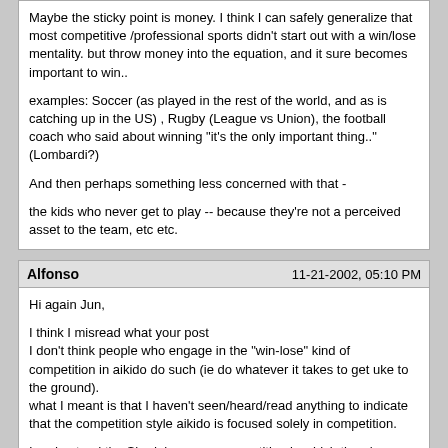Maybe the sticky point is money. I think I can safely generalize that most competitive /professional sports didn't start out with a win/lose mentality. but throw money into the equation, and it sure becomes important to win..

examples: Soccer (as played in the rest of the world, and as is catching up in the US) , Rugby (League vs Union), the football coach who said about winning "it's the only important thing.." (Lombardi?)

And then perhaps something less concerned with that -

the kids who never get to play -- because they're not a perceived asset to the team, etc etc.
Alfonso   11-21-2002, 05:10 PM
Hi again Jun,

I think I misread what your post
I don't think people who engage in the "win-lose" kind of competition in aikido do such (ie do whatever it takes to get uke to the ground).
what I meant is that I haven't seen/heard/read anything to indicate that the competition style aikido is focused solely in competition.

I understand the Shodokan uses competition in which there's a winner and a loser in its form.

But i've been under the impression that it was a complement to the cooperative training that I feel so endeared to.

In any case,

Hi Miha! Good topic for debate (welcome to debate-world)
vBulletin Copyright © 2000-2012 Jelsoft Enterprises Limited